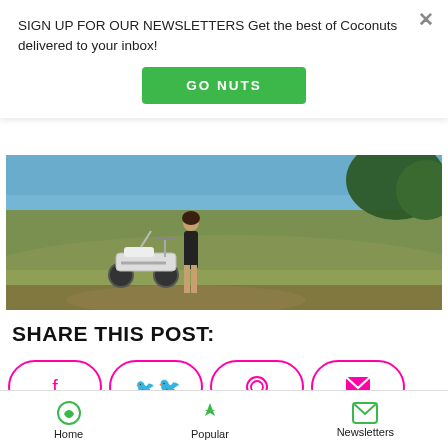SIGN UP FOR OUR NEWSLETTERS Get the best of Coconuts delivered to your inbox!
[Figure (other): Green GO NUTS button for newsletter signup]
[Figure (photo): Person standing near a motorcycle on a grassy hillside with trees and blue sky in background]
SHARE THIS POST:
[Figure (other): Social share buttons: Facebook, Twitter, WhatsApp, Email - pink outlined rounded rectangle buttons]
JOIN THE COCONUTS
Home  Popular  Newsletters